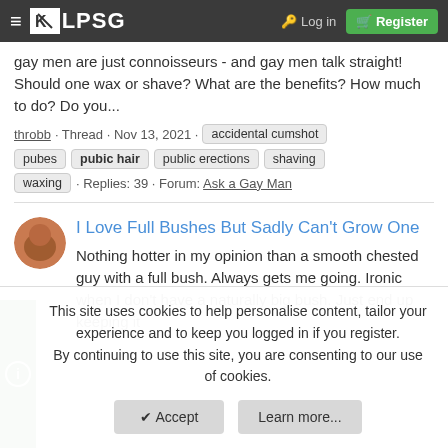≡ [K] LPSG   🔑 Log in   Register
gay men are just connoisseurs - and gay men talk straight! Should one wax or shave? What are the benefits? How much to do? Do you...
throbb · Thread · Nov 13, 2021 · accidental cumshot  pubes  pubic hair  public erections  shaving  waxing · Replies: 39 · Forum: Ask a Gay Man
I Love Full Bushes But Sadly Can't Grow One
Nothing hotter in my opinion than a smooth chested guy with a full bush. Always gets me going. Ironic when I don't have a naturally big bush. Just end up keeping it
This site uses cookies to help personalise content, tailor your experience and to keep you logged in if you register.
By continuing to use this site, you are consenting to our use of cookies.